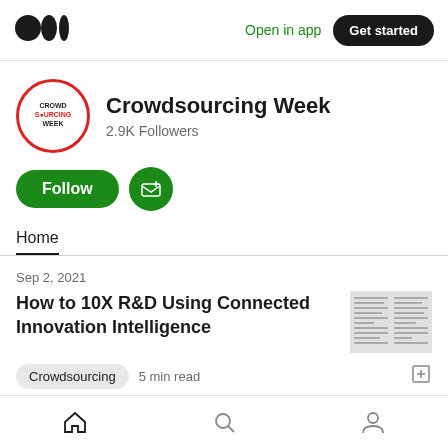Open in app  Get started
[Figure (logo): Crowdsourcing Week circular logo with red border and text CROWD SOURCING WEEK]
Crowdsourcing Week
2.9K Followers
Follow  [subscribe button]
Home
Sep 2, 2021
How to 10X R&D Using Connected Innovation Intelligence
[Figure (screenshot): Thumbnail image of article content showing a document with text columns]
Crowdsourcing  5 min read
Home  Search  Profile